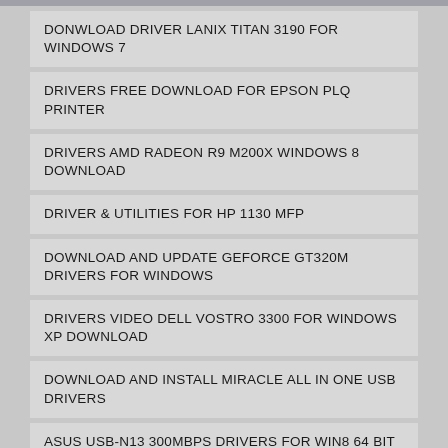DONWLOAD DRIVER LANIX TITAN 3190 FOR WINDOWS 7
DRIVERS FREE DOWNLOAD FOR EPSON PLQ PRINTER
DRIVERS AMD RADEON R9 M200X WINDOWS 8 DOWNLOAD
DRIVER & UTILITIES FOR HP 1130 MFP
DOWNLOAD AND UPDATE GEFORCE GT320M DRIVERS FOR WINDOWS
DRIVERS VIDEO DELL VOSTRO 3300 FOR WINDOWS XP DOWNLOAD
DOWNLOAD AND INSTALL MIRACLE ALL IN ONE USB DRIVERS
ASUS USB-N13 300MBPS DRIVERS FOR WIN8 64 BIT
FUJITSU SIEMENS AMILO A1640 AUDIO SOFTWARE